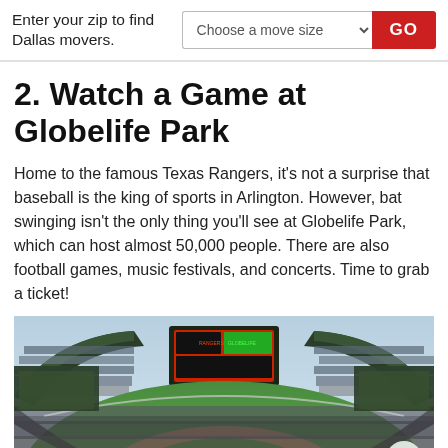Enter your zip to find Dallas movers.
2. Watch a Game at Globelife Park
Home to the famous Texas Rangers, it's not a surprise that baseball is the king of sports in Arlington. However, bat swinging isn't the only thing you'll see at Globelife Park, which can host almost 50,000 people. There are also football games, music festivals, and concerts. Time to grab a ticket!
[Figure (photo): Aerial panoramic view of Globelife Park baseball stadium filled with spectators, showing the green field, seating sections, scoreboard, and open sky above.]